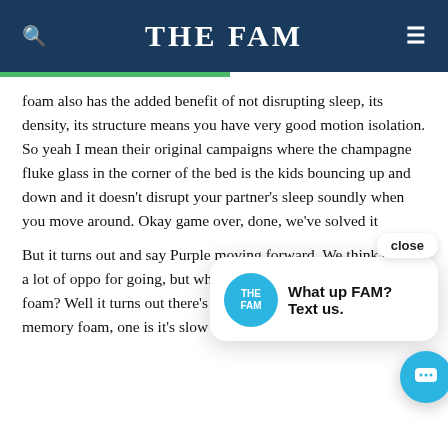THE FAM
foam also has the added benefit of not disrupting sleep, its density, its structure means you have very good motion isolation. So yeah I mean their original campaigns where the champagne fluke glass in the corner of the bed is the kids bouncing up and down and it doesn't disrupt your partner's sleep soundly when you move around. Okay game over, done, we've solved it
But it turns out and say Purple moving forward. We think there's a lot of opportunity for going, but what's the downsides of memory foam? Well it turns out there's two sleep disruptive downsides to memory foam, one is it's slow to
[Figure (screenshot): Chat popup overlay with 'THE FAM' logo and 'What up FAM? Text us.' message, with close button and chat bubble icon]